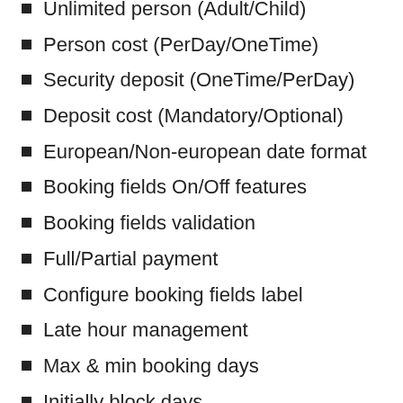Unlimited person (Adult/Child)
Person cost (PerDay/OneTime)
Security deposit (OneTime/PerDay)
Deposit cost (Mandatory/Optional)
European/Non-european date format
Booking fields On/Off features
Booking fields validation
Full/Partial payment
Configure booking fields label
Late hour management
Max & min booking days
Initially block days
Per-booking & post-booking block days configuration
Set weekend on booking calendar
Handle holidays
Opening & closing hours configuration
Customer dashboard